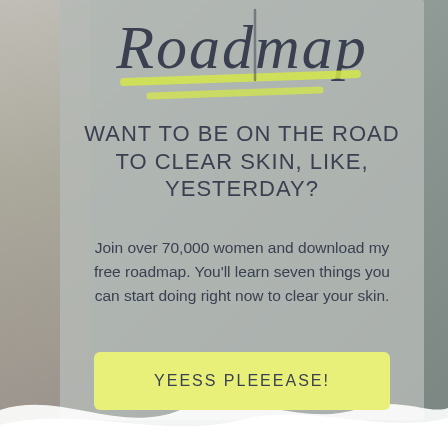Roadmap
WANT TO BE ON THE ROAD TO CLEAR SKIN, LIKE, YESTERDAY?
Join over 70,000 women and download my free roadmap. You'll learn seven things you can start doing right now to clear your skin.
YEESS PLEEEASE!